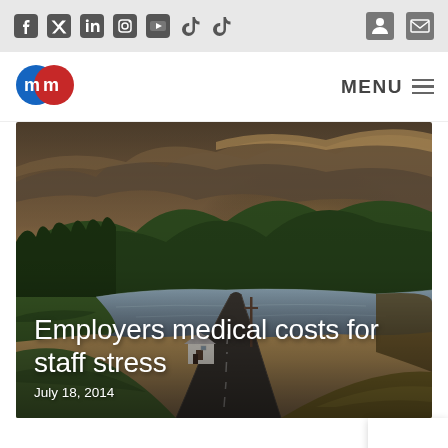Social media icons (Facebook, Twitter, LinkedIn, Instagram, YouTube, TikTok x2) and user/mail icons
[Figure (logo): MM logo — two overlapping circles, blue left with white 'm', red right with white 'm']
MENU
[Figure (photo): Scenic landscape photo: winding road leading to a loch/lake surrounded by green hills and dramatic cloudy sky at dusk. Small white cottage on the left side of the road.]
Employers medical costs for staff stress
July 18, 2014